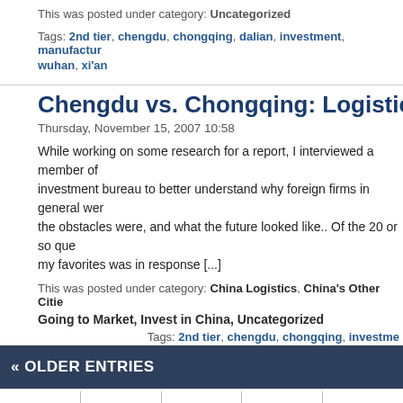This was posted under category: Uncategorized
Tags: 2nd tier, chengdu, chongqing, dalian, investment, manufactur... wuhan, xi'an
Chengdu vs. Chongqing: Logistics Hub(s) of t...
Thursday, November 15, 2007 10:58
While working on some research for a report, I interviewed a member of... investment bureau to better understand why foreign firms in general wer... the obstacles were, and what the future looked like.. Of the 20 or so que... my favorites was in response [...]
This was posted under category: China Logistics, China's Other Cities...
Going to Market, Invest in China, Uncategorized
Tags: 2nd tier, chengdu, chongqing, investme...
« OLDER ENTRIES
HOME | ABOUT ME | CONTACT US | SPEAKING | PR...
Posts RSS   Comments RSS